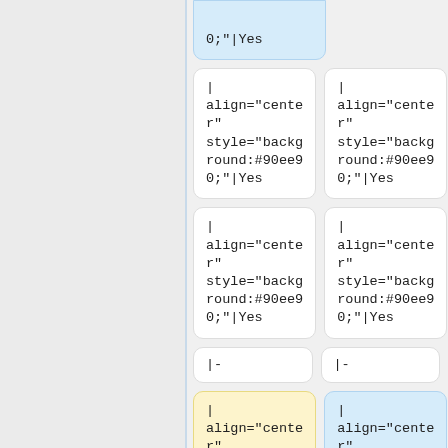| align="center" style="background:#90ee90;"|Yes
| align="center" style="background:#90ee90;"|Yes
| align="center" style="background:#90ee90;"|Yes
| align="center" style="background:#90ee90;"|Yes
| align="center" style="background:#90ee90;"|Yes
| align="center" style="background:#90ee90;"|Yes
|-
|-
| align="center" style="background:#90ee90;"|Yes
| align="center" style="background:#90ee90;"|Yes